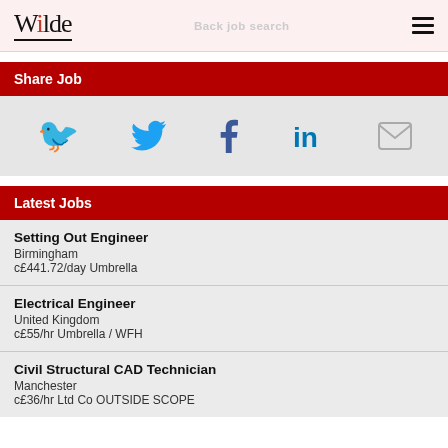Wilde | Back job search
Share Job
[Figure (infographic): Social sharing icons: Twitter (blue bird), Facebook (dark blue f), LinkedIn (blue in), Email (grey envelope)]
Latest Jobs
Setting Out Engineer | Birmingham | c£441.72/day Umbrella
Electrical Engineer | United Kingdom | c£55/hr Umbrella / WFH
Civil Structural CAD Technician | Manchester | c£36/hr Ltd Co OUTSIDE SCOPE